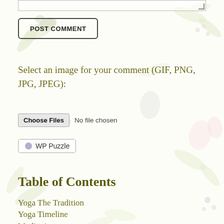[Figure (screenshot): Partial textarea with resize handle at bottom right]
POST COMMENT
Select an image for your comment (GIF, PNG, JPG, JPEG):
Choose Files  No file chosen
WP Puzzle
Table of Contents
Yoga The Tradition
Yoga Timeline
Meditation